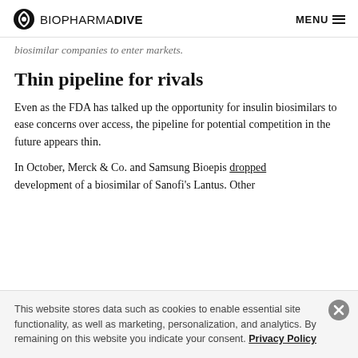BIOPHARMA DIVE | MENU
biosimilar companies to enter markets.
Thin pipeline for rivals
Even as the FDA has talked up the opportunity for insulin biosimilars to ease concerns over access, the pipeline for potential competition in the future appears thin.
In October, Merck & Co. and Samsung Bioepis dropped development of a biosimilar of Sanofi's Lantus. Other
This website stores data such as cookies to enable essential site functionality, as well as marketing, personalization, and analytics. By remaining on this website you indicate your consent. Privacy Policy